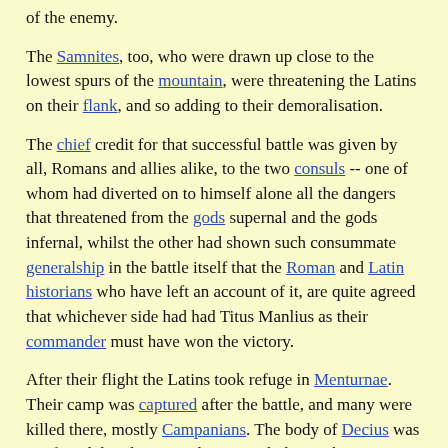of the enemy.
The Samnites, too, who were drawn up close to the lowest spurs of the mountain, were threatening the Latins on their flank, and so adding to their demoralisation.
The chief credit for that successful battle was given by all, Romans and allies alike, to the two consuls -- one of whom had diverted on to himself alone all the dangers that threatened from the gods supernal and the gods infernal, whilst the other had shown such consummate generalship in the battle itself that the Roman and Latin historians who have left an account of it, are quite agreed that whichever side had had Titus Manlius as their commander must have won the victory.
After their flight the Latins took refuge in Menturnae. Their camp was captured after the battle, and many were killed there, mostly Campanians. The body of Decius was not found that day, as night overtook those who were searching for it, the next day it was discovered, buried beneath a heap of javelins and with an immense number of the enemy lying round it. His